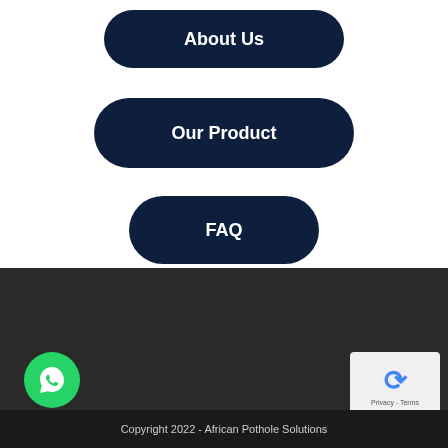About Us
Our Product
FAQ
[Figure (illustration): Dark footer background area]
[Figure (logo): WhatsApp chat button - green circle with chat icon]
[Figure (other): reCAPTCHA privacy terms widget]
Copyright 2022 - African Pothole Solutions